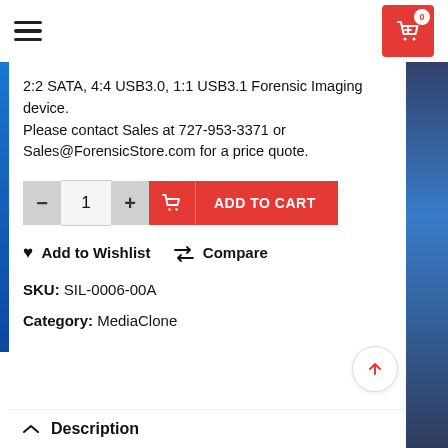Menu | Cart (0)
2:2 SATA, 4:4 USB3.0, 1:1 USB3.1 Forensic Imaging device. Please contact Sales at 727-953-3371 or Sales@ForensicStore.com for a price quote.
ADD TO CART (quantity: 1)
♥ Add to Wishlist  ⇄ Compare
SKU: SIL-0006-00A
Category: MediaClone
Description